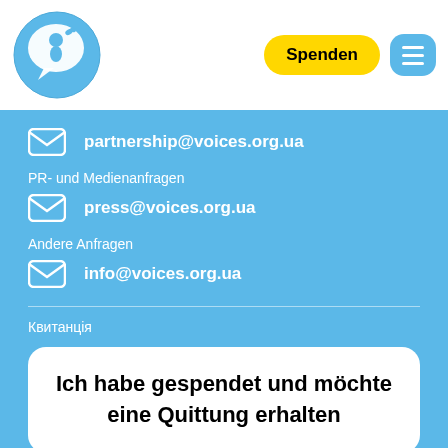[Figure (logo): Voices of Children organization logo — blue speech bubble with a child figure and butterflies, circular badge]
Spenden
partnership@voices.org.ua
PR- und Medienanfragen
press@voices.org.ua
Andere Anfragen
info@voices.org.ua
Квитанція
Ich habe gespendet und möchte eine Quittung erhalten